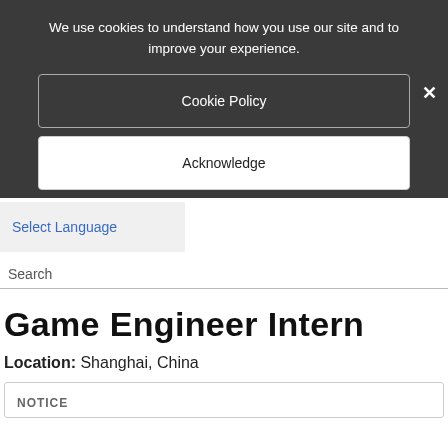We use cookies to understand how you use our site and to improve your experience.
Cookie Policy
Acknowledge
Select Language
Search
Game Engineer Intern
Location: Shanghai, China
NOTICE